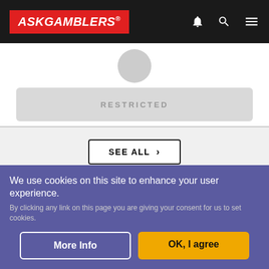ASKGAMBLERS
RESTRICTED
SEE ALL
MANGO CASINO COMPLAINTS
So far not a single complaint has been filed against this
We use cookies on this site to enhance your user experience. By clicking any link on this page you are giving your consent for us to set cookies.